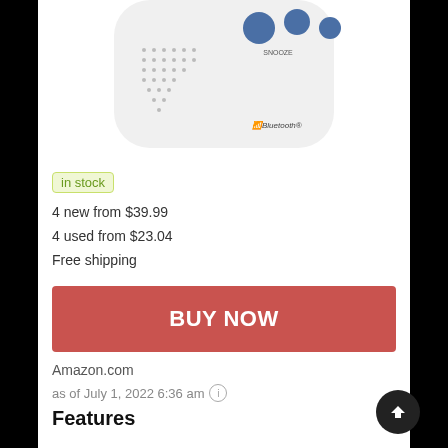[Figure (photo): Partial top view of a white Bluetooth alarm clock/speaker device with blue buttons labeled SNOOZE and Bluetooth logo visible]
in stock
4 new from $39.99
4 used from $23.04
Free shipping
BUY NOW
Amazon.com
as of July 1, 2022 6:36 am
Features